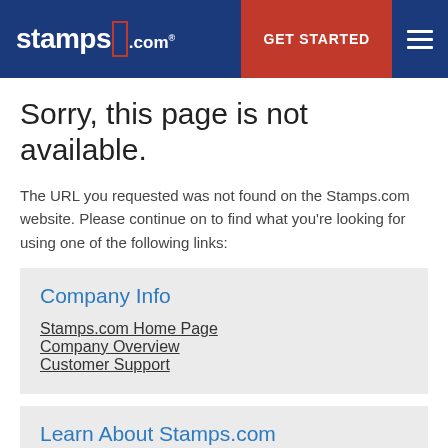stamps.com — GET STARTED navigation header
Sorry, this page is not available.
The URL you requested was not found on the Stamps.com website. Please continue on to find what you're looking for using one of the following links:
Company Info
Stamps.com Home Page
Company Overview
Customer Support
Learn About Stamps.com
Features & Benefits